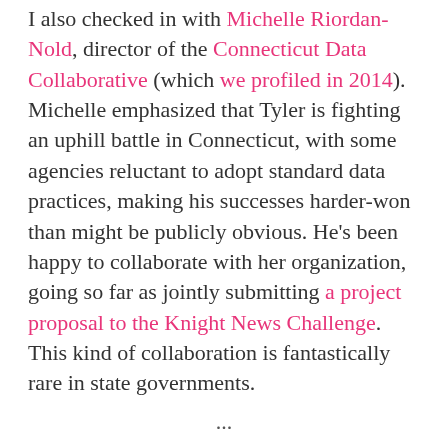I also checked in with Michelle Riordan-Nold, director of the Connecticut Data Collaborative (which we profiled in 2014). Michelle emphasized that Tyler is fighting an uphill battle in Connecticut, with some agencies reluctant to adopt standard data practices, making his successes harder-won than might be publicly obvious. He's been happy to collaborate with her organization, going so far as jointly submitting a project proposal to the Knight News Challenge. This kind of collaboration is fantastically rare in state governments.
...
One can't just go around grading states arbitrarily. My giving Connecticut's repository a